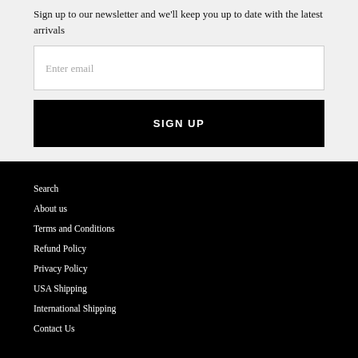Sign up to our newsletter and we'll keep you up to date with the latest arrivals
Enter email
SIGN UP
Search
About us
Terms and Conditions
Refund Policy
Privacy Policy
USA Shipping
International Shipping
Contact Us